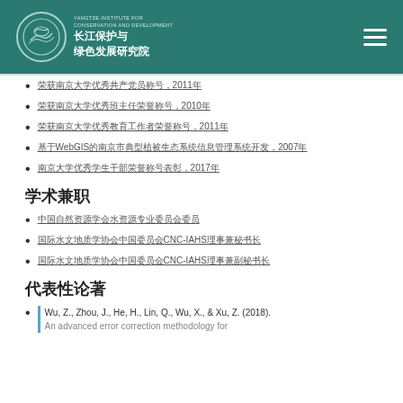YANGTZE INSTITUTE FOR CONSERVATION AND DEVELOPMENT 长江保护与绿色发展研究院
荣获南京大学优秀共产党员称号，2011年
荣获南京大学优秀班主任荣誉称号，2010年
荣获南京大学优秀教育工作者荣誉称号，2011年
基于WebGIS的南京市典型植被生态系统信息管理系统开发，2007年
南京大学优秀学生干部荣誉称号表彰，2017年
学术兼职
中国自然资源学会水资源专业委员会委员
国际水文地质学协会中国委员会CNC-IAHS理事兼秘书长
国际水文地质学协会中国委员会CNC-IAHS理事兼副秘书长
代表性论著
Wu, Z., Zhou, J., He, H., Lin, Q., Wu, X., & Xu, Z. (2018). An advanced error correction methodology for...